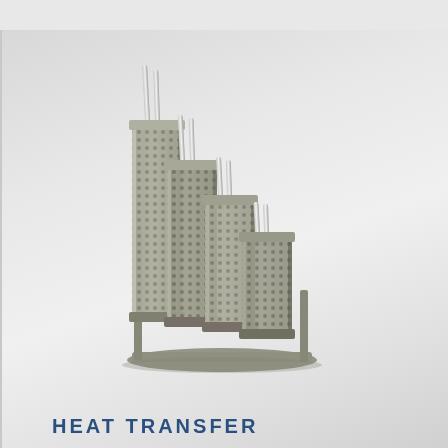[Figure (photo): A set of stainless steel perforated plate heat transfer elements arranged in ascending height order on a metal stand, viewed at an angle. The plates have a textured, dimpled or perforated surface and are held together by rods protruding from the top.]
HEAT TRANSFER